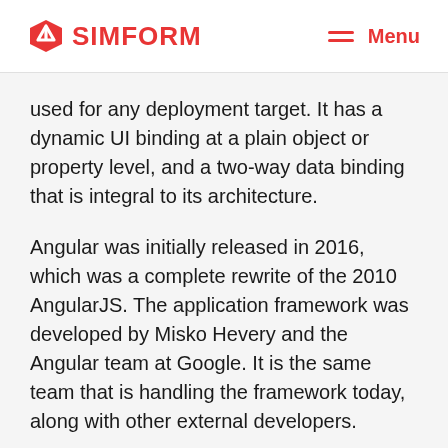SIMFORM  Menu
used for any deployment target. It has a dynamic UI binding at a plain object or property level, and a two-way data binding that is integral to its architecture.
Angular was initially released in 2016, which was a complete rewrite of the 2010 AngularJS. The application framework was developed by Misko Hevery and the Angular team at Google. It is the same team that is handling the framework today, along with other external developers.
Market Usage Statistics